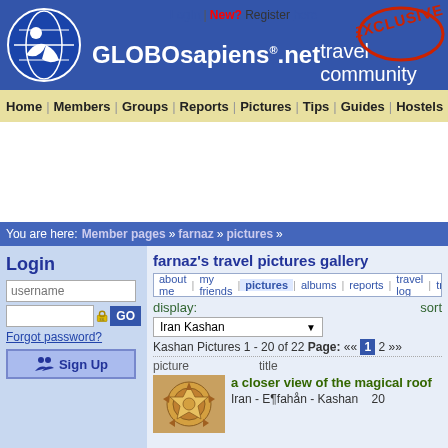[Figure (logo): GLOBOsapiens.net header with globe logo, login/register links, EXCLUSIVE stamp, and travel community tagline]
LogIn | New? Register here
GLOBOsapiens.net travel community
Home | Members | Groups | Reports | Pictures | Tips | Guides | Hostels
You are here: Member pages » farnaz » pictures »
Login
username / password fields, GO button, Forgot password?, Sign Up
farnaz's travel pictures gallery
about me | my friends | pictures | albums | reports | travel log | tra
display: sort
Iran Kashan
Kashan Pictures 1 - 20 of 22 Page: «« 1 2 »»
picture   title
a closer view of the magical roof
Iran - E¶fahån - Kashan   20